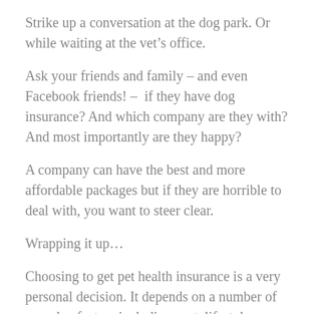Strike up a conversation at the dog park. Or while waiting at the vet’s office.
Ask your friends and family – and even Facebook friends! –  if they have dog insurance? And which company are they with? And most importantly are they happy?
A company can have the best and more affordable packages but if they are horrible to deal with, you want to steer clear.
Wrapping it up…
Choosing to get pet health insurance is a very personal decision. It depends on a number of complex factors including cost, lifestyle, needs, benefits and pet age.
For some, pet health insurance could be a